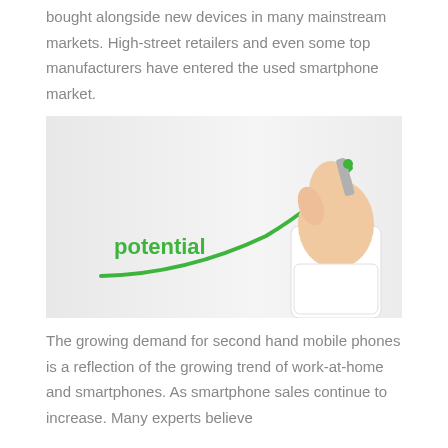bought alongside new devices in many mainstream markets. High-street retailers and even some top manufacturers have entered the used smartphone market.
[Figure (photo): A hand holding a green marker/pen drawing an upward curving line on a white surface, with the word 'potential' written in green text on the left side of the curve.]
The growing demand for second hand mobile phones is a reflection of the growing trend of work-at-home and smartphones. As smartphone sales continue to increase. Many experts believe